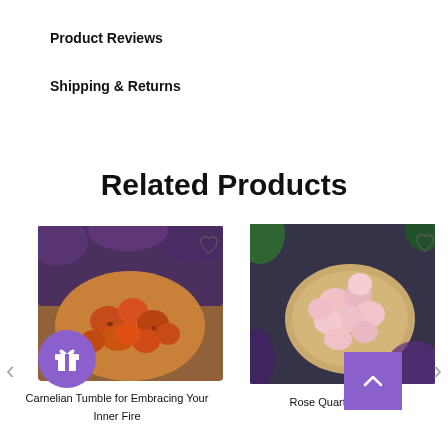Product Reviews
Shipping & Returns
Related Products
[Figure (photo): Carnelian tumble stones in a wooden bowl with purple foliage background]
[Figure (photo): Rose Quartz tumble stones in a wooden bowl with purple and green foliage background]
Carnelian Tumble for Embracing Your Inner Fire
Rose Quartz Tumble